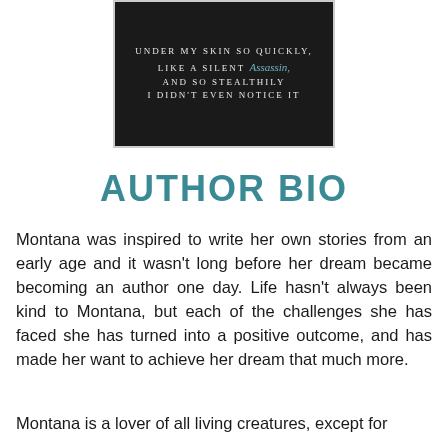[Figure (illustration): Dark book cover image with text reading: 'UNDER MY SKIN SO QUICKLY, LIKE A SILENT Assassin, AND SO STEALTHILY I DIDN'T EVEN NOTICE IT']
AUTHOR BIO
Montana was inspired to write her own stories from an early age and it wasn't long before her dream became becoming an author one day. Life hasn't always been kind to Montana, but each of the challenges she has faced she has turned into a positive outcome, and has made her want to achieve her dream that much more.
Montana is a lover of all living creatures, except for